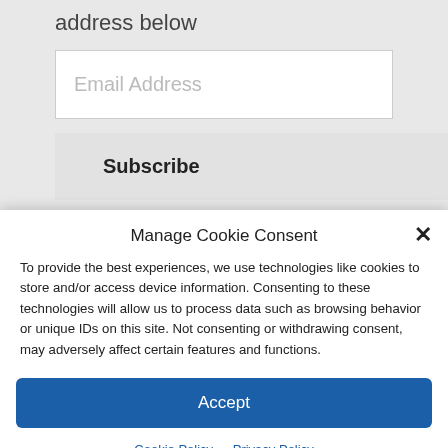address below
Email Address
Subscribe
Manage Cookie Consent
To provide the best experiences, we use technologies like cookies to store and/or access device information. Consenting to these technologies will allow us to process data such as browsing behavior or unique IDs on this site. Not consenting or withdrawing consent, may adversely affect certain features and functions.
Accept
Cookie Policy   Privacy Policy